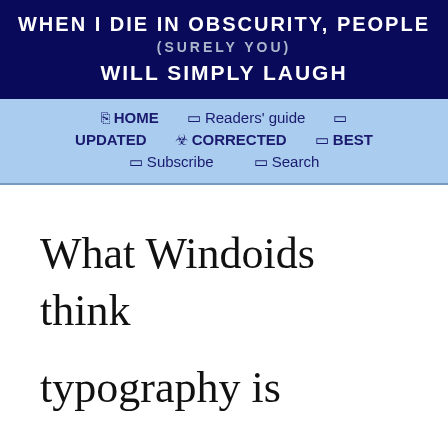WHEN I DIE IN OBSCURITY, PEOPLE (SURELY YOU) WILL SIMPLY LAUGH
⌂ HOME  □ Readers' guide  □  UPDATED  ☣ CORRECTED  □ BEST  □ Subscribe  □ Search
What Windoids think typography is